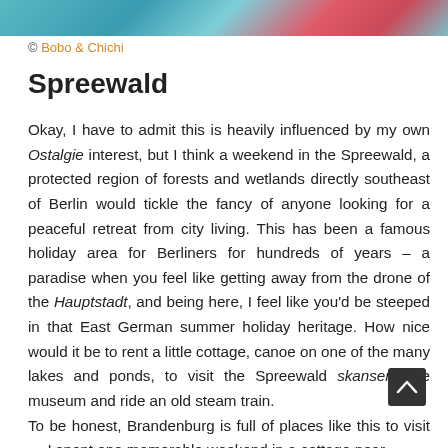[Figure (photo): Partial colorful image strip at the top of the page]
© Bobo & Chichi
Spreewald
Okay, I have to admit this is heavily influenced by my own Ostalgie interest, but I think a weekend in the Spreewald, a protected region of forests and wetlands directly southeast of Berlin would tickle the fancy of anyone looking for a peaceful retreat from city living. This has been a famous holiday area for Berliners for hundreds of years – a paradise when you feel like getting away from the drone of the Hauptstadt, and being here, I feel like you'd be steeped in that East German summer holiday heritage. How nice would it be to rent a little cottage, canoe on one of the many lakes and ponds, to visit the Spreewald skansen-style museum and ride an old steam train.
To be honest, Brandenburg is full of places like this to visit — I spent one memorable weekend in a cottage near